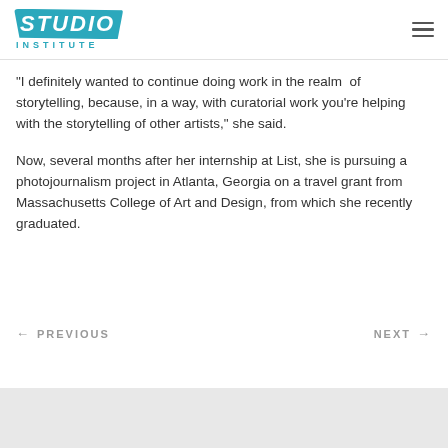STUDIO INSTITUTE
“I definitely wanted to continue doing work in the realm of storytelling, because, in a way, with curatorial work you’re helping with the storytelling of other artists,” she said.
Now, several months after her internship at List, she is pursuing a photojournalism project in Atlanta, Georgia on a travel grant from Massachusetts College of Art and Design, from which she recently graduated.
← PREVIOUS    NEXT →